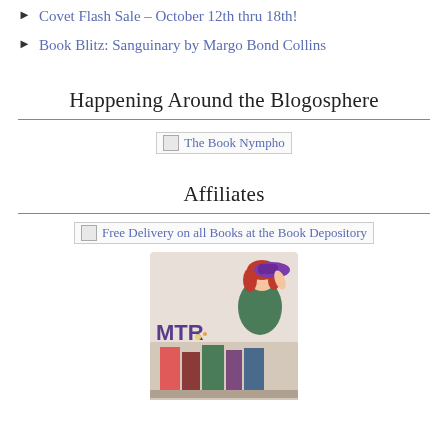Covet Flash Sale – October 12th thru 18th!
Book Blitz: Sanguinary by Margo Bond Collins
Happening Around the Blogosphere
[Figure (illustration): Broken image placeholder labeled 'The Book Nympho']
Affiliates
[Figure (illustration): Broken image placeholder labeled 'Free Delivery on all Books at the Book Depository']
[Figure (illustration): MTR logo image showing a woman with red hair holding a purple hat, standing next to a stack of colorful books]
[Figure (illustration): Dark banner image at bottom, partially visible]